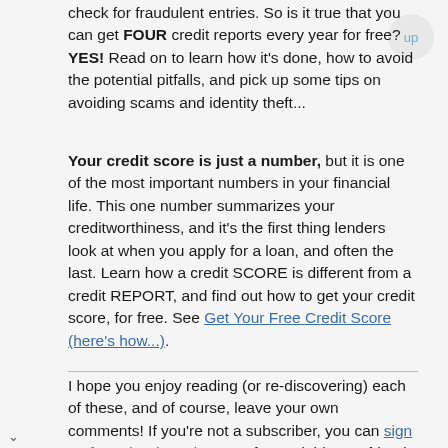check for fraudulent entries. So is it true that you can get FOUR credit reports every year for free? YES! Read on to learn how it's done, how to avoid the potential pitfalls, and pick up some tips on avoiding scams and identity theft...
Your credit score is just a number, but it is one of the most important numbers in your financial life. This one number summarizes your creditworthiness, and it's the first thing lenders look at when you apply for a loan, and often the last. Learn how a credit SCORE is different from a credit REPORT, and find out how to get your credit score, for free. See Get Your Free Credit Score (here's how...).
I hope you enjoy reading (or re-discovering) each of these, and of course, leave your own comments! If you're not a subscriber, you can sign up for AskBob Updates, or forward this to a friend who